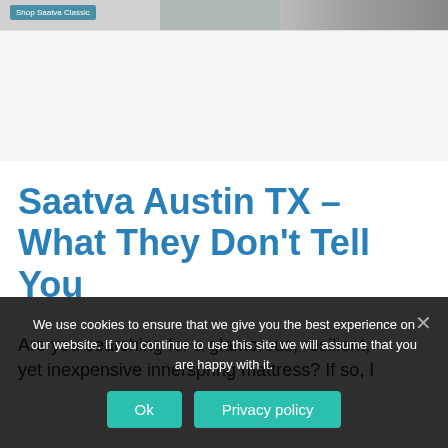[Figure (photo): Top banner image showing a bed/mattress with a shop button overlay on the left, bedroom furniture in the background]
Saatva Austin TX – What They Don't Tell You
Are you searching for a glamorous, resilient, yet inexpensive innerspring mattress? If so, I
We use cookies to ensure that we give you the best experience on our website. If you continue to use this site we will assume that you are happy with it.